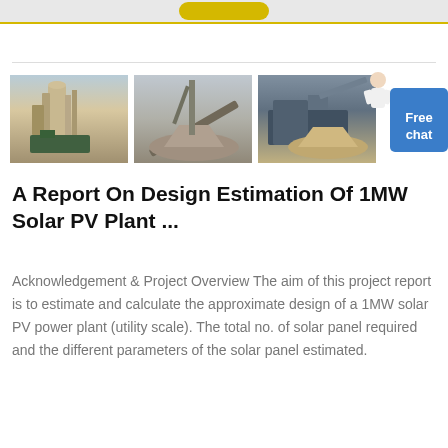[Figure (photo): Three industrial photos: industrial dust collector/mill equipment, conveyor belt with aggregate, and mining/quarry equipment]
A Report On Design Estimation Of 1MW Solar PV Plant ...
Acknowledgement & Project Overview The aim of this project report is to estimate and calculate the approximate design of a 1MW solar PV power plant (utility scale). The total no. of solar panel required and the different parameters of the solar panel estimated.